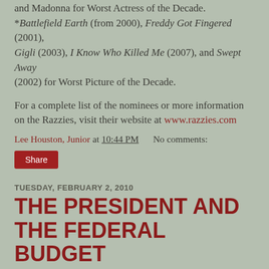and Madonna for Worst Actress of the Decade. *Battlefield Earth (from 2000), Freddy Got Fingered (2001), Gigli (2003), I Know Who Killed Me (2007), and Swept Away (2002) for Worst Picture of the Decade.
For a complete list of the nominees or more information on the Razzies, visit their website at www.razzies.com
Lee Houston, Junior at 10:44 PM   No comments:
Share
TUESDAY, FEBRUARY 2, 2010
THE PRESIDENT AND THE FEDERAL BUDGET
An Editorial.
Well, even after publicly announcing his plans during the State of the Union address last week, you can't be surprised that President Barack Obama's proposed 2011 Federal budget is…